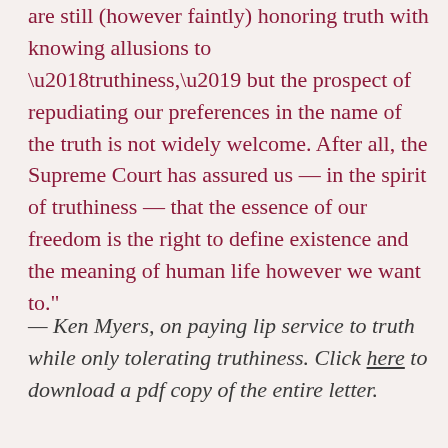are still (however faintly) honoring truth with knowing allusions to ‘truthiness,’ but the prospect of repudiating our preferences in the name of the truth is not widely welcome. After all, the Supreme Court has assured us — in the spirit of truthiness — that the essence of our freedom is the right to define existence and the meaning of human life however we want to.”
— Ken Myers, on paying lip service to truth while only tolerating truthiness. Click here to download a pdf copy of the entire letter.